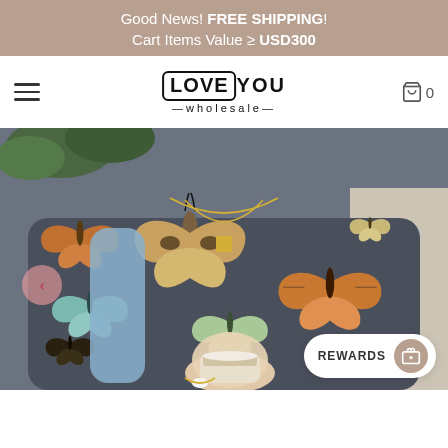Good News! FREE SHIPPING!
Cart Items Value ≥ USD300
[Figure (logo): LOVEYOU wholesale logo with hamburger menu and cart icon showing 0 items]
[Figure (photo): Person wearing a dark grey sweatshirt covered in butterfly prints, holding an iced coffee drink, with a blue backpack and gold chain necklace visible]
REWARDS